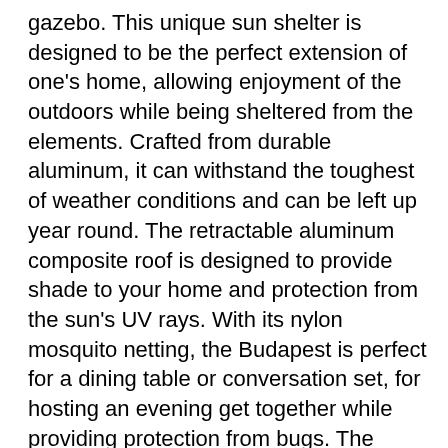gazebo. This unique sun shelter is designed to be the perfect extension of one's home, allowing enjoyment of the outdoors while being sheltered from the elements. Crafted from durable aluminum, it can withstand the toughest of weather conditions and can be left up year round. The retractable aluminum composite roof is designed to provide shade to your home and protection from the sun's UV rays. With its nylon mosquito netting, the Budapest is perfect for a dining table or conversation set, for hosting an evening get together while providing protection from bugs. The addition of the polyester curtains can provide more intimacy and privacy while adding an extra level of sun protection. Create the perfect haven in your own backyard with this beautiful 4 season mural sun shelter.
Structure made of dark brown powder coated aluminum
Roof made of retractable aluminum composite panels (ACP)